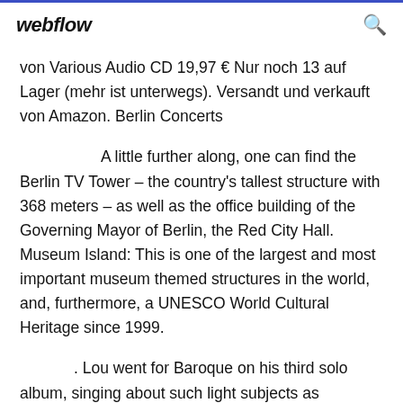webflow
von Various Audio CD 19,97 € Nur noch 13 auf Lager (mehr ist unterwegs). Versandt und verkauft von Amazon. Berlin Concerts
A little further along, one can find the Berlin TV Tower – the country's tallest structure with 368 meters – as well as the office building of the Governing Mayor of Berlin, the Red City Hall. Museum Island: This is one of the largest and most important museum themed structures in the world, and, furthermore, a UNESCO World Cultural Heritage since 1999.
. Lou went for Baroque on his third solo album, singing about such light subjects as